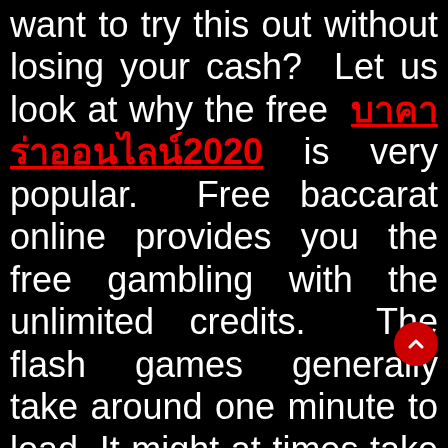want to try this out without losing your cash? Let us look at why the free บาคาร่าออนไลน์2020 is very popular. Free baccarat online provides you the free gambling with the unlimited credits. The flash games generally take around one minute to load. It might at times take a bit longer if you have very slow connection, and during the peak hours when website server gets overloaded. Continue reading the instructions on how you can play free baccarat online. Remember that Java games needs your browser will be Java enabled. S...